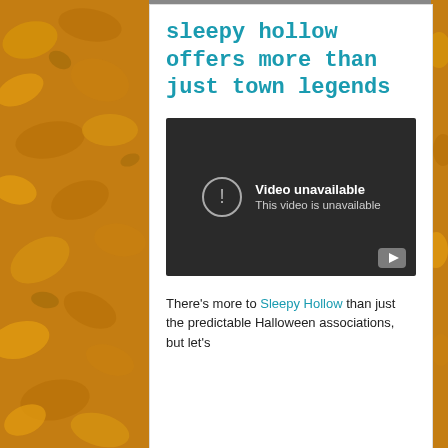[Figure (photo): Background texture of corn chips/crisps visible on left and right sides of the page]
sleepy hollow offers more than just town legends
[Figure (screenshot): Embedded video player showing 'Video unavailable / This video is unavailable' message on a dark background with a YouTube play button icon in the bottom right]
There's more to Sleepy Hollow than just the predictable Halloween associations, but let's